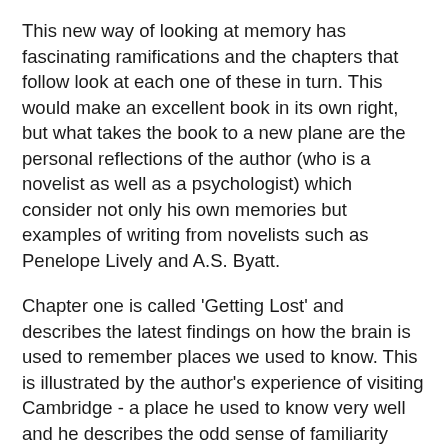This new way of looking at memory has fascinating ramifications and the chapters that follow look at each one of these in turn. This would make an excellent book in its own right, but what takes the book to a new plane are the personal reflections of the author (who is a novelist as well as a psychologist) which consider not only his own memories but examples of writing from novelists such as Penelope Lively and A.S. Byatt.
Chapter one is called 'Getting Lost' and describes the latest findings on how the brain is used to remember places we used to know. This is illustrated by the author's experience of visiting Cambridge - a place he used to know very well and he describes the odd sense of familiarity superimposed on the feeling of strangeness as he gradually becomes reorientated again. He then describes returning to Sydney - another place he knew well for a short period - and muses over the difference between revisiting a place in imagination and memory.
The second chapter compares memories that are activated by smell (and taste) to those activated by sight. Smell tends